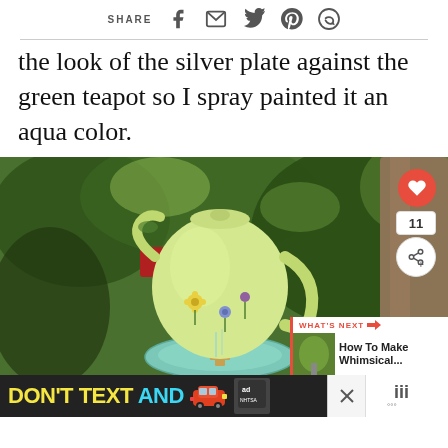SHARE [social icons: facebook, email, twitter, pinterest, whatsapp]
the look of the silver plate against the green teapot so I spray painted it an aqua color.
[Figure (photo): Photo of a green floral teapot with an aqua painted plate below it, mounted outdoors on a pole with trees in background. Overlay elements include a heart button (11 saves), share button, 'What's Next' panel showing 'How To Make Whimsical...' thumbnail, and an advertisement banner at bottom reading 'DON'T TEXT AND' with car graphic and NHTSA branding.]